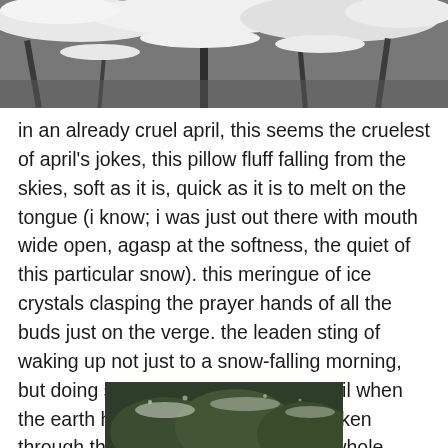[Figure (photo): Snow-covered tree branches, close-up black and white / desaturated photo showing white snow piled on dark branches]
in an already cruel april, this seems the cruelest of april's jokes, this pillow fluff falling from the skies, soft as it is, quick as it is to melt on the tongue (i know; i was just out there with mouth wide open, agasp at the softness, the quiet of this particular snow). this meringue of ice crystals clasping the prayer hands of all the buds just on the verge. the leaden sting of waking up not just to a snow-falling morning, but doing so in the latter weeks of april when the earth has finally, triumphantly, broken through the thawing crust, when the whole globe is aching, is straining, is trying to muster resilience and make it to the other side…
[Figure (photo): Dark green snow-dusted trees or shrubs, partially visible at the bottom of the page]